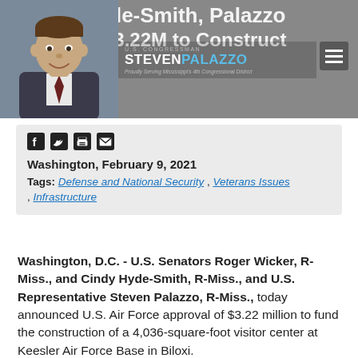Wicker, Hyde-Smith, Palazzo Announce $3.22M to Construct Visitor Center
[Figure (photo): Photo of U.S. Congressman Steven Palazzo with header logo showing name and tagline 'Proudly Serving Mississippi's 4th Congressional District']
Washington, February 9, 2021
Tags: Defense and National Security , Veterans Issues , Infrastructure
Washington, D.C. - U.S. Senators Roger Wicker, R-Miss., and Cindy Hyde-Smith, R-Miss., and U.S. Representative Steven Palazzo, R-Miss., today announced U.S. Air Force approval of $3.22 million to fund the construction of a 4,036-square-foot visitor center at Keesler Air Force Base in Biloxi.
“As a premier military installation and one of the largest employers in the area, Keesler Air Force Base